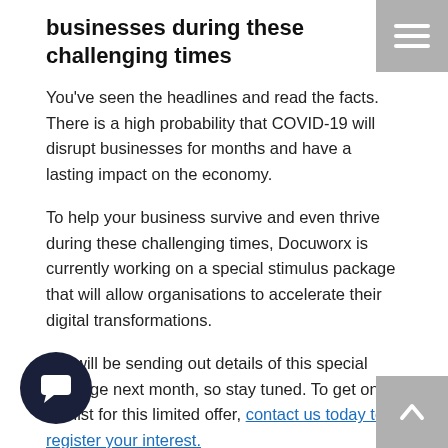businesses during these challenging times
You've seen the headlines and read the facts. There is a high probability that COVID-19 will disrupt businesses for months and have a lasting impact on the economy.
To help your business survive and even thrive during these challenging times, Docuworx is currently working on a special stimulus package that will allow organisations to accelerate their digital transformations.
We will be sending out details of this special package next month, so stay tuned. To get on the list for this limited offer, contact us today to register your interest.